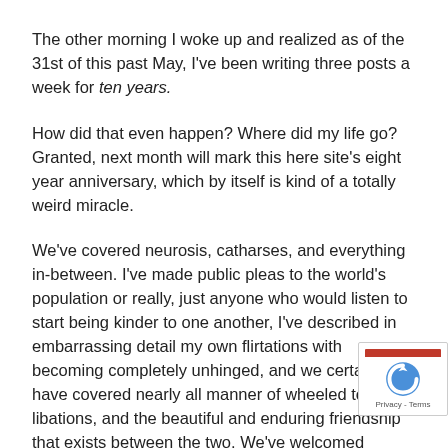The other morning I woke up and realized as of the 31st of this past May, I've been writing three posts a week for ten years.
How did that even happen? Where did my life go? Granted, next month will mark this here site's eight year anniversary, which by itself is kind of a totally weird miracle.
We've covered neurosis, catharses, and everything in-between. I've made public pleas to the world's population or really, just anyone who would listen to start being kinder to one another, I've described in embarrassing detail my own flirtations with becoming completely unhinged, and we certainly have covered nearly all manner of wheeled toys, libations, and the beautiful and enduring friendship that exists between the two. We've welcomed people into the world, and did